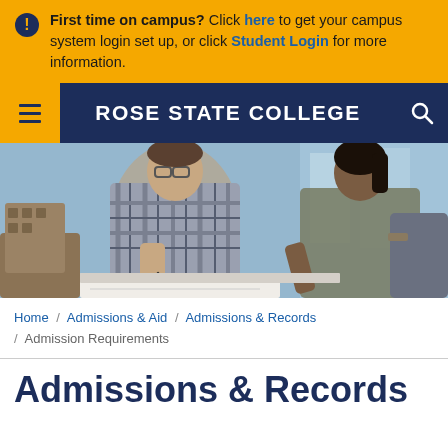First time on campus? Click here to get your campus system login set up, or click Student Login for more information.
[Figure (screenshot): Rose State College navigation bar with hamburger menu on the left (gold background), centered white bold text 'ROSE STATE COLLEGE' on dark navy background, and search icon on the right.]
[Figure (photo): Two college students sitting and studying together indoors. A male student with glasses writes in a notebook while a female student leans over pointing at the work.]
Home / Admissions & Aid / Admissions & Records / Admission Requirements
Admissions & Records